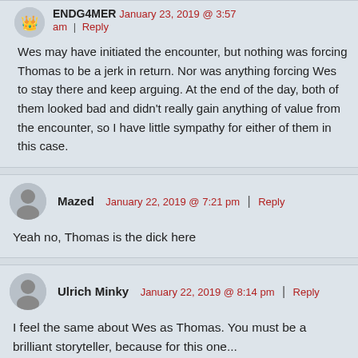ENDG4MER   January 23, 2019 @ 3:57 am | Reply
Wes may have initiated the encounter, but nothing was forcing Thomas to be a jerk in return. Nor was anything forcing Wes to stay there and keep arguing. At the end of the day, both of them looked bad and didn't really gain anything of value from the encounter, so I have little sympathy for either of them in this case.
Mazed   January 22, 2019 @ 7:21 pm | Reply
Yeah no, Thomas is the dick here
Ulrich Minky   January 22, 2019 @ 8:14 pm | Reply
I feel the same about Wes as Thomas. You must be a brilliant storyteller, because for this one...